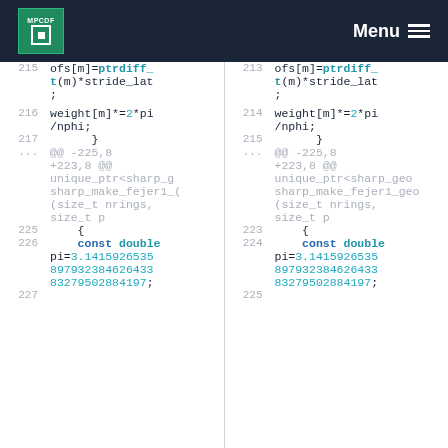MPCDF | Menu
Code diff view showing two columns of source code with line numbers. Left column lines 215-227, right column lines 213-225. Content includes C++ code with ptrdiff_t, stride_lat, weight calculations, pi constant definition.